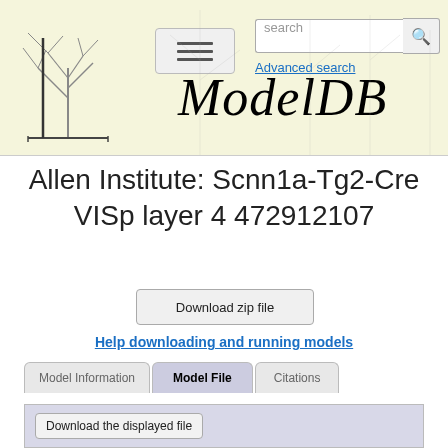[Figure (screenshot): ModelDB website header with logo (tree illustration), hamburger menu button, search box, Advanced search link, and ModelDB italic title text]
Allen Institute: Scnn1a-Tg2-Cre VISp layer 4 472912107
Download zip file
Help downloading and running models
Model Information | Model File | Citations
Download the displayed file
TITLE Mouse sodium current
: Kinetics of Carter et al. (2012)
: Based on 37 degC recordings from mouse hippocampal CA1 pyramids

NEURON {
    SUFFIX NaV